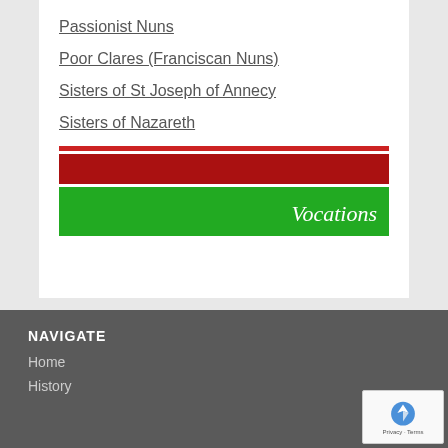Passionist Nuns
Poor Clares (Franciscan Nuns)
Sisters of St Joseph of Annecy
Sisters of Nazareth
[Figure (logo): Vocations banner with red and green horizontal stripes and italic white 'Vocations' text on green background]
NAVIGATE
Home
History